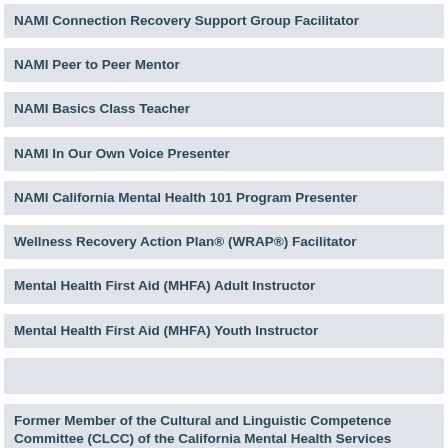NAMI Connection Recovery Support Group Facilitator
NAMI Peer to Peer Mentor
NAMI Basics Class Teacher
NAMI In Our Own Voice Presenter
NAMI California Mental Health 101 Program Presenter
Wellness Recovery Action Plan® (WRAP®) Facilitator
Mental Health First Aid (MHFA) Adult Instructor
Mental Health First Aid (MHFA) Youth Instructor
Former Member of the Cultural and Linguistic Competence Committee (CLCC) of the California Mental Health Services Oversight and Accountability Commission (MHSOAC)
Former NAMI California Family Stakeholder Advisory Group Member